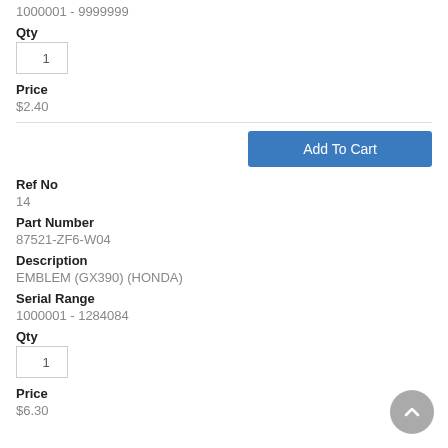1000001 - 9999999
Qty
1
Price
$2.40
Add To Cart
Ref No
14
Part Number
87521-ZF6-W04
Description
EMBLEM (GX390) (HONDA)
Serial Range
1000001 - 1284084
Qty
1
Price
$6.30